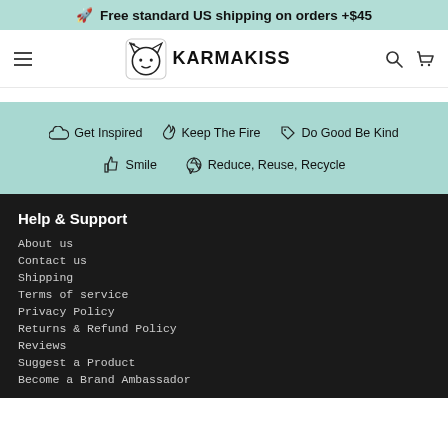🚀 Free standard US shipping on orders +$45
[Figure (logo): KarmaKiss logo with cat face icon and text KARMAKISS]
Get Inspired  Keep The Fire  Do Good Be Kind  Smile  Reduce, Reuse, Recycle
Help & Support
About us
Contact us
Shipping
Terms of service
Privacy Policy
Returns & Refund Policy
Reviews
Suggest a Product
Become a Brand Ambassador